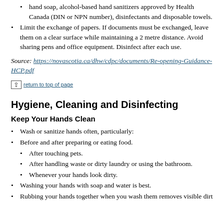hand soap, alcohol-based hand sanitizers approved by Health Canada (DIN or NPN number), disinfectants and disposable towels.
Limit the exchange of papers. If documents must be exchanged, leave them on a clear surface while maintaining a 2 metre distance. Avoid sharing pens and office equipment. Disinfect after each use.
Source: https://novascotia.ca/dhw/cdpc/documents/Re-opening-Guidance-HCP.pdf
↑ return to top of page
Hygiene, Cleaning and Disinfecting
Keep Your Hands Clean
Wash or sanitize hands often, particularly:
Before and after preparing or eating food.
After touching pets.
After handling waste or dirty laundry or using the bathroom.
Whenever your hands look dirty.
Washing your hands with soap and water is best.
Rubbing your hands together when you wash them removes visible dirt